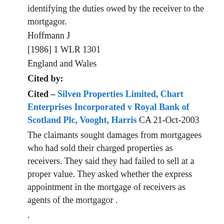identifying the duties owed by the receiver to the mortgagor.
Hoffmann J
[1986] 1 WLR 1301
England and Wales
Cited by:
Cited – Silven Properties Limited, Chart Enterprises Incorporated v Royal Bank of Scotland Plc, Vooght, Harris CA 21-Oct-2003
The claimants sought damages from mortgagees who had sold their charged properties as receivers. They said they had failed to sell at a proper value. They asked whether the express appointment in the mortgage of receivers as agents of the mortgagor .
.